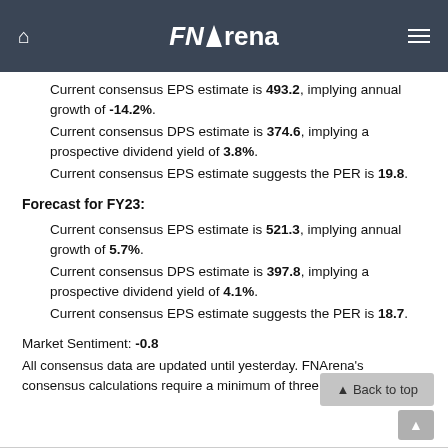FNArena
Current consensus EPS estimate is 493.2, implying annual growth of -14.2%. Current consensus DPS estimate is 374.6, implying a prospective dividend yield of 3.8%. Current consensus EPS estimate suggests the PER is 19.8.
Forecast for FY23:
Current consensus EPS estimate is 521.3, implying annual growth of 5.7%. Current consensus DPS estimate is 397.8, implying a prospective dividend yield of 4.1%. Current consensus EPS estimate suggests the PER is 18.7.
Market Sentiment: -0.8
All consensus data are updated until yesterday. FNArena's consensus calculations require a minimum of three sources